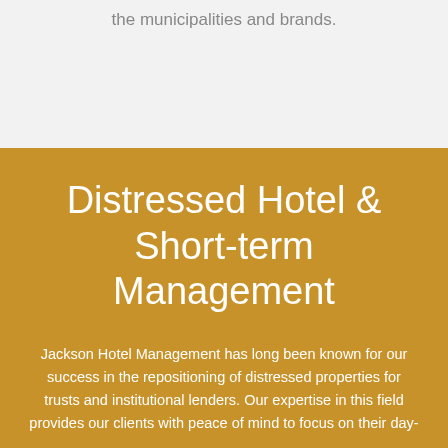the municipalities and brands.
Distressed Hotel & Short-term Management
Jackson Hotel Management has long been known for our success in the repositioning of distressed properties for trusts and institutional lenders. Our expertise in this field provides our clients with peace of mind to focus on their day-